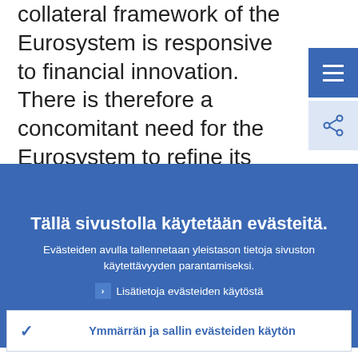collateral framework of the Eurosystem is responsive to financial innovation. There is therefore a concomitant need for the Eurosystem to refine its collateral policy, including the risk control measures, and ensure that the collateral continues to meet
Tällä sivustolla käytetään evästeitä.
Evästeiden avulla tallennetaan yleistason tietoja sivuston käytettävyyden parantamiseksi.
› Lisätietoja evästeiden käytöstä
✓ Ymmärrän ja sallin evästeiden käytön
✗ En salli evästeiden käyttöä